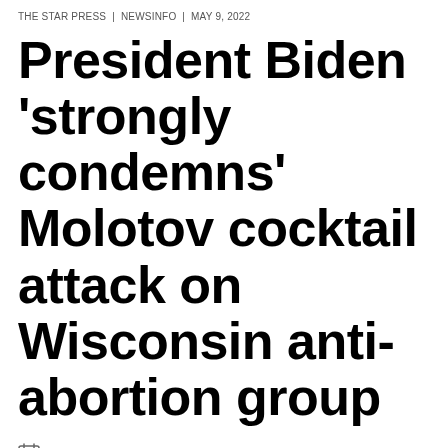THE STAR PRESS | NEWSINFO | MAY 9, 2022
President Biden 'strongly condemns' Molotov cocktail attack on Wisconsin anti-abortion group
MAY 9, 2022 AT 3:10 PM